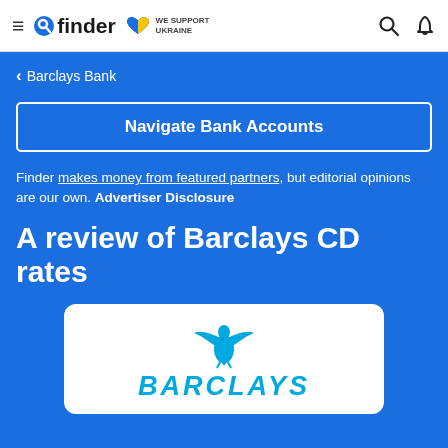finder | WE SUPPORT UKRAINE
< Barclays Bank
Navigate Bank Accounts
Finder makes money from featured partners, but editorial opinions are our own. Advertiser Disclosure
A review of Barclays CD rates
[Figure (logo): Barclays eagle logo and BARCLAYS wordmark in cyan/teal color on white card background]